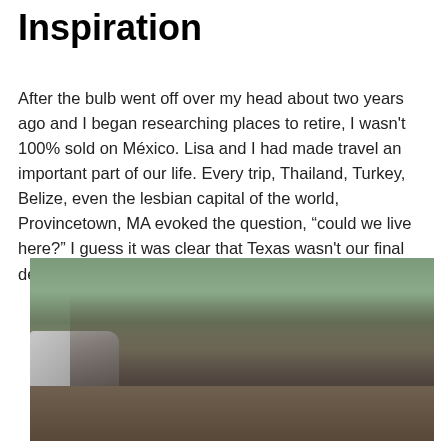Inspiration
After the bulb went off over my head about two years ago and I began researching places to retire, I wasn't 100% sold on México. Lisa and I had made travel an important part of our life. Every trip, Thailand, Turkey, Belize, even the lesbian capital of the world, Provincetown, MA evoked the question, “could we live here?” I guess it was clear that Texas wasn't our final destination.
[Figure (photo): Group photo of five or six people posing together outdoors in what appears to be a suburban backyard or driveway. There is a truck on the left side. Trees and a house are visible in the background.]